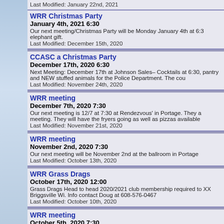Last Modified: January 22nd, 2021
WRR Christmas Party
January 4th, 2021 6:30
Our next meeting/Christmas Party will be Monday January 4th at 6:3 elephant gift.
Last Modified: December 15th, 2020
CCASC a Christmas Party
December 17th, 2020 6:30
Next Meeting: December 17th at Johnson Sales– Cocktails at 6:30, pantry and NEW stuffed animals for the Police Department. The cou
Last Modified: November 24th, 2020
WRR meeting
December 7th, 2020 7:30
Our next meeting is 12/7 at 7:30 at Rendezvous' in Portage. They a meeting. They will have the fryers going as well as pizzas available
Last Modified: November 21st, 2020
WRR meeting
November 2nd, 2020 7:30
Our next meeting will be November 2nd at the ballroom in Portage
Last Modified: October 13th, 2020
WRR Grass Drags
October 17th, 2020 12:00
Grass Drags Head to head 2020/2021 club membership required to XX Briggsville Wi. Info contact Doug at 608-576-0467
Last Modified: October 10th, 2020
WRR meeting
October 5th, 2020 7:30
Our next meeting will be October 5th at the ballroom in Portage
Last Modified: September 29th, 2020
WRR meeting
September 12th, 2020 10:00